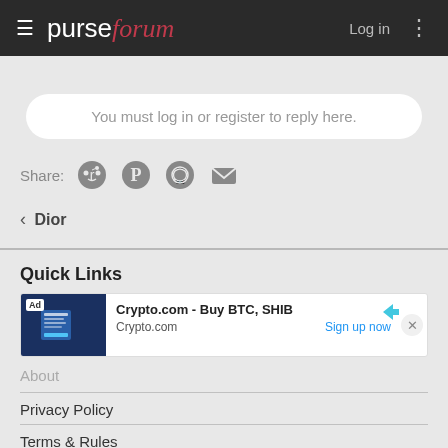purseforum — Log in
You must log in or register to reply here.
Share:
< Dior
Quick Links
[Figure (infographic): Ad banner: Crypto.com - Buy BTC, SHIB. Sign up now.]
About
Privacy Policy
Terms & Rules